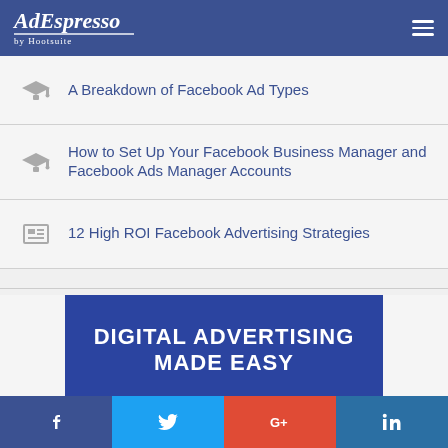AdEspresso by Hootsuite
A Breakdown of Facebook Ad Types
How to Set Up Your Facebook Business Manager and Facebook Ads Manager Accounts
12 High ROI Facebook Advertising Strategies
[Figure (infographic): Blue promotional banner with bold white uppercase text reading DIGITAL ADVERTISING MADE EASY]
Social share buttons: Facebook, Twitter, Google+, LinkedIn